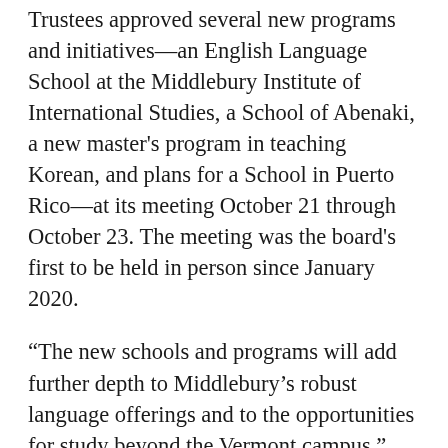Trustees approved several new programs and initiatives—an English Language School at the Middlebury Institute of International Studies, a School of Abenaki, a new master's program in teaching Korean, and plans for a School in Puerto Rico—at its meeting October 21 through October 23. The meeting was the board's first to be held in person since January 2020.
“The new schools and programs will add further depth to Middlebury’s robust language offerings and to the opportunities for study beyond the Vermont campus,” said Middlebury President Laurie Patton. “As we look ahead,